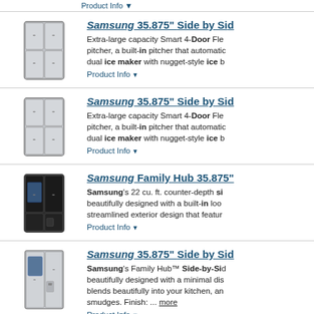Product Info ▼
[Figure (photo): Samsung 4-door stainless steel refrigerator product image]
Samsung 35.875" Side by Si... Extra-large capacity Smart 4-Door Fle... pitcher, a built-in pitcher that automatic... dual ice maker with nugget-style ice b...
Product Info ▼
[Figure (photo): Samsung 4-door stainless steel refrigerator product image]
Samsung 35.875" Side by Sid... Extra-large capacity Smart 4-Door Fle... pitcher, a built-in pitcher that automatic... dual ice maker with nugget-style ice b...
Product Info ▼
[Figure (photo): Samsung Family Hub black 4-door refrigerator with touchscreen product image]
Samsung Family Hub 35.875"... Samsung's 22 cu. ft. counter-depth si... beautifully designed with a built-in loo... streamlined exterior design that featur...
Product Info ▼
[Figure (photo): Samsung Family Hub stainless steel side-by-side refrigerator product image]
Samsung 35.875" Side by Sid... Samsung's Family Hub™ Side-by-Sid... beautifully designed with a minimal dis... blends beautifully into your kitchen, an... smudges. Finish: ... more
Product Info ▼
Samsung 35.875" Side by Sid...